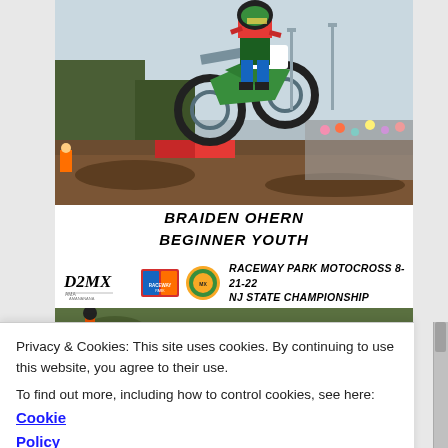[Figure (photo): Motocross rider on a green dirt bike (number 35x) airborne over a dirt jump at a raceway, with crowd and trees in background.]
BRAIDEN OHERN
BEGINNER YOUTH
[Figure (logo): D2MX AMA logo, Raceway Park logo, and Motocross circular logo displayed together as event branding]
RACEWAY PARK MOTOCROSS 8-21-22
NJ STATE CHAMPIONSHIP
[Figure (photo): Partially visible bottom green strip showing next motocross photo]
Privacy & Cookies: This site uses cookies. By continuing to use this website, you agree to their use.
To find out more, including how to control cookies, see here: Cookie Policy
Close and accept